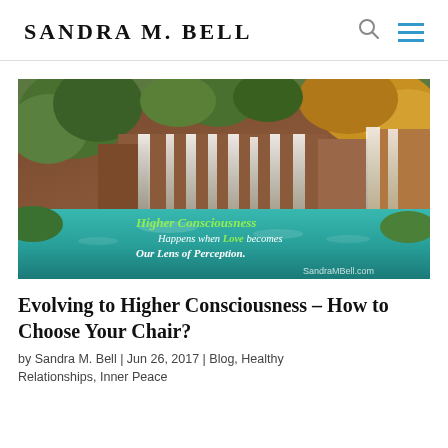SANDRA M. BELL
[Figure (photo): Scenic waterfall landscape with turquoise water and lush green trees, with overlaid text reading: Higher Consciousness Happens when Love becomes Our Lens of Perception. SandraMBell.com]
Evolving to Higher Consciousness – How to Choose Your Chair?
by Sandra M. Bell | Jun 26, 2017 | Blog, Healthy Relationships, Inner Peace